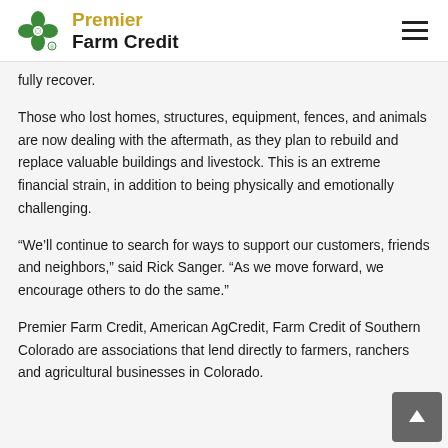Premier Farm Credit
fully recover.
Those who lost homes, structures, equipment, fences, and animals are now dealing with the aftermath, as they plan to rebuild and replace valuable buildings and livestock. This is an extreme financial strain, in addition to being physically and emotionally challenging.
“We’ll continue to search for ways to support our customers, friends and neighbors,” said Rick Sanger. “As we move forward, we encourage others to do the same.”
Premier Farm Credit, American AgCredit, Farm Credit of Southern Colorado are associations that lend directly to farmers, ranchers and agricultural businesses in Colorado.